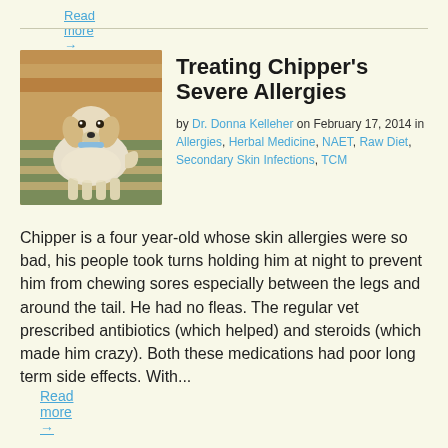Read more →
[Figure (photo): A small white and golden fluffy dog standing on a green and beige striped rug on a hardwood floor, wearing a light blue collar.]
Treating Chipper's Severe Allergies
by Dr. Donna Kelleher on February 17, 2014 in Allergies, Herbal Medicine, NAET, Raw Diet, Secondary Skin Infections, TCM
Chipper is a four year-old whose skin allergies were so bad, his people took turns holding him at night to prevent him from chewing sores especially between the legs and around the tail. He had no fleas. The regular vet prescribed antibiotics (which helped) and steroids (which made him crazy). Both these medications had poor long term side effects. With...
Read more →